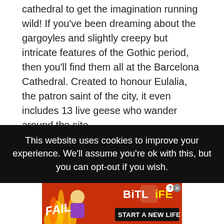cathedral to get the imagination running wild! If you've been dreaming about the gargoyles and slightly creepy but intricate features of the Gothic period, then you'll find them all at the Barcelona Cathedral. Created to honour Eulalia, the patron saint of the city, it even includes 13 live geese who wander around the site.
What to do there: Get your cameras ready and make sure you take pictures in front of the cathedral and then count the geese. There are always 13 geese in the cathedral, meant to symbolise each year of Eulalia's life before her martyrdom. Also, do the rooftop tour while you're there. The cathedral looks particularly stunning from up high and
This website uses cookies to improve your experience. We'll assume you're ok with this, but you can opt-out if you wish.
[Figure (illustration): BitLife advertisement banner with FAIL text, cartoon character, flames, BitLife logo, and START A NEW LIFE button]